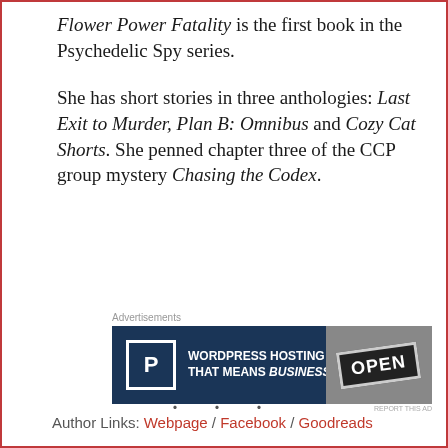Flower Power Fatality is the first book in the Psychedelic Spy series.
She has short stories in three anthologies: Last Exit to Murder, Plan B: Omnibus and Cozy Cat Shorts. She penned chapter three of the CCP group mystery Chasing the Codex.
[Figure (other): Pressable WordPress hosting advertisement banner with dark navy background, Pressable 'P' logo icon, text 'WORDPRESS HOSTING THAT MEANS BUSINESS.' and an image of an 'OPEN' sign on the right side.]
Author Links: Webpage / Facebook / Goodreads